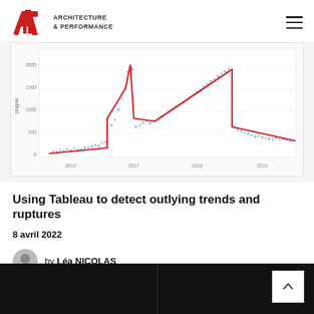ARCHITECTURE & PERFORMANCE
[Figure (continuous-plot): Time series scatter plot with red piecewise regression line showing data from 2016 to 2019. Y-axis labeled 'plugins' ranges from 0 to 2000. Blue scatter points with red step/trend line showing jumps and drops at changepoints around 2017 and 2019.]
Using Tableau to detect outlying trends and ruptures
8 avril 2022
by Léa NICOLAS